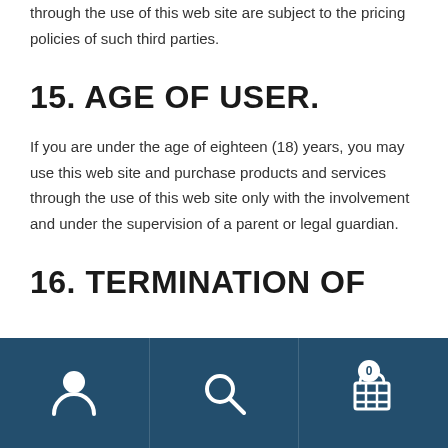through the use of this web site are subject to the pricing policies of such third parties.
15. AGE OF USER.
If you are under the age of eighteen (18) years, you may use this web site and purchase products and services through the use of this web site only with the involvement and under the supervision of a parent or legal guardian.
16. TERMINATION OF